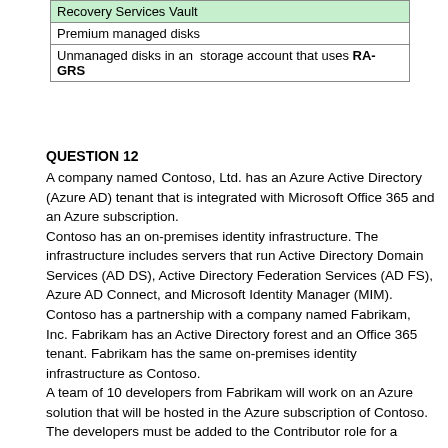[Figure (table-as-image): Partial table showing disk options. Highlighted row: 'Recovery Services Vault'. Other rows: 'Premium managed disks', 'Unmanaged disks in an storage account that uses RA-GRS']
QUESTION 12
A company named Contoso, Ltd. has an Azure Active Directory (Azure AD) tenant that is integrated with Microsoft Office 365 and an Azure subscription. Contoso has an on-premises identity infrastructure. The infrastructure includes servers that run Active Directory Domain Services (AD DS), Active Directory Federation Services (AD FS), Azure AD Connect, and Microsoft Identity Manager (MIM). Contoso has a partnership with a company named Fabrikam, Inc. Fabrikam has an Active Directory forest and an Office 365 tenant. Fabrikam has the same on-premises identity infrastructure as Contoso. A team of 10 developers from Fabrikam will work on an Azure solution that will be hosted in the Azure subscription of Contoso. The developers must be added to the Contributor role for a